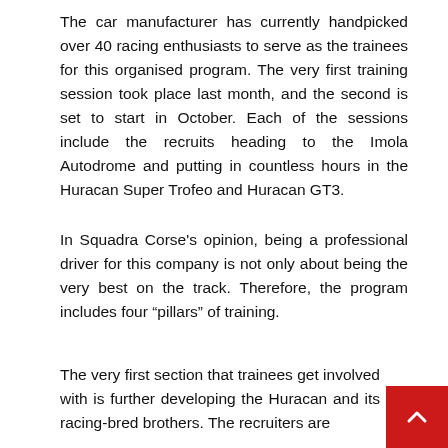The car manufacturer has currently handpicked over 40 racing enthusiasts to serve as the trainees for this organised program. The very first training session took place last month, and the second is set to start in October. Each of the sessions include the recruits heading to the Imola Autodrome and putting in countless hours in the Huracan Super Trofeo and Huracan GT3.
In Squadra Corse's opinion, being a professional driver for this company is not only about being the very best on the track. Therefore, the program includes four “pillars” of training.
The very first section that trainees get involved with is further developing the Huracan and its racing-bred brothers. The recruiters are